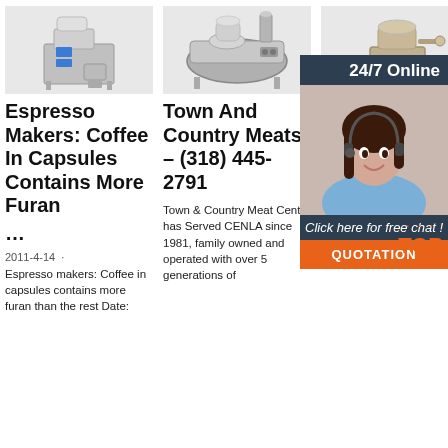[Figure (photo): Small industrial espresso/coffee machine, metallic with blue element]
[Figure (photo): Large industrial coffee roaster machine, stainless steel]
[Figure (photo): Industrial grain/coffee grinder machine]
Espresso Makers: Coffee In Capsules Contains More Furan …
Town And Country Meats – (318) 445-2791
From Dental Hair Transplant To Aesthetic & Wellbeing …
2011-4-14 · Espresso makers: Coffee in capsules contains more furan than the rest Date:
Town & Country Meat Center has Served CENLA since 1981, family owned and operated with over 5 generations of
We offer Dental Treatment, Aesthetic
[Figure (infographic): 24/7 Online chat advertisement overlay with woman wearing headset, orange QUOTATION button, and TOP badge]